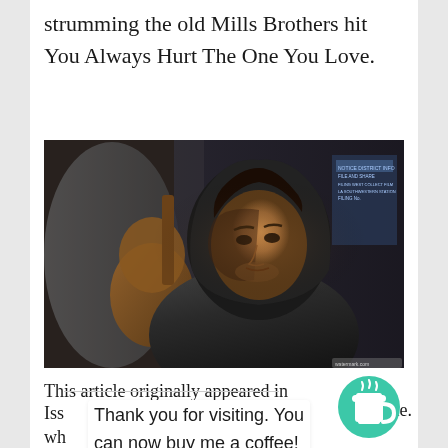strumming the old Mills Brothers hit You Always Hurt The One You Love.
[Figure (photo): A man wearing a black hoodie and leather jacket holds a guitar, looking to the side, in a dimly lit indoor setting with a notice board visible in the background.]
This article originally appeared in Issue... which...
Thank you for visiting. You can now buy me a coffee!